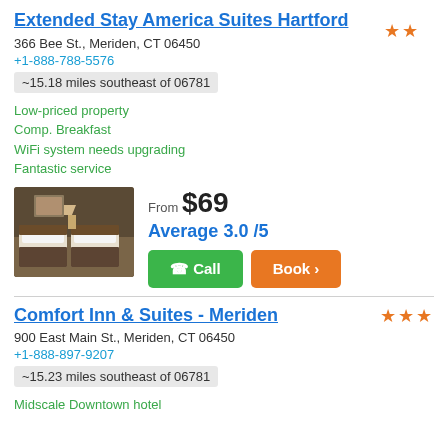Extended Stay America Suites Hartford
366 Bee St., Meriden, CT 06450
+1-888-788-5576
~15.18 miles southeast of 06781
Low-priced property
Comp. Breakfast
WiFi system needs upgrading
Fantastic service
[Figure (photo): Hotel room photo showing two beds with white linens, lamp, and artwork]
From $69
Average 3.0 /5
Comfort Inn & Suites - Meriden
900 East Main St., Meriden, CT 06450
+1-888-897-9207
~15.23 miles southeast of 06781
Midscale Downtown hotel